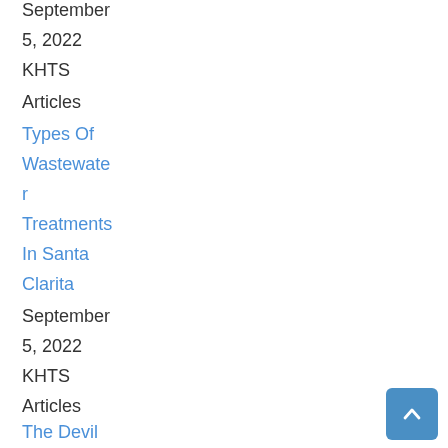September
5, 2022
KHTS
Articles
Types Of Wastewater Treatments In Santa Clarita
September
5, 2022
KHTS
Articles
The Devil & A Blues